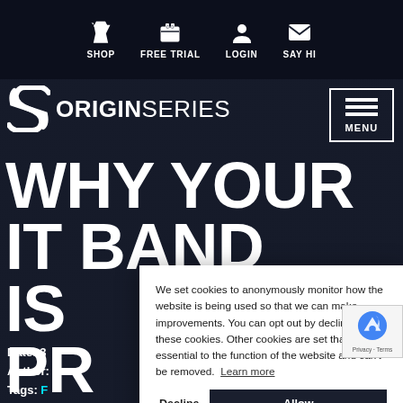SHOP   FREE TRIAL   LOGIN   SAY HI
[Figure (logo): Origin Series logo with stylized S icon and bold text ORIGINSERIES]
[Figure (other): Menu button with three horizontal lines and MENU label, white on dark background with border]
WHY YOUR IT BAND IS [obscured] E PR[obscured]
Date: 3[obscured]
Author: [obscured]
Tags: [obscured]
We set cookies to anonymously monitor how the website is being used so that we can make improvements. You can opt out by declining these cookies. Other cookies are set that are essential to the function of the website and can't be removed.  Learn more
Decline   Allow